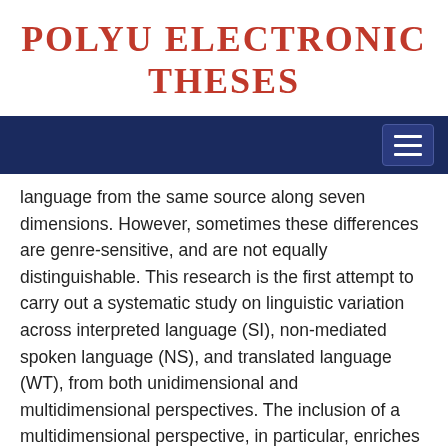POLYU ELECTRONIC THESES
[Figure (screenshot): Dark navy blue navigation bar with hamburger menu button on the right side]
language from the same source along seven dimensions. However, sometimes these differences are genre-sensitive, and are not equally distinguishable. This research is the first attempt to carry out a systematic study on linguistic variation across interpreted language (SI), non-mediated spoken language (NS), and translated language (WT), from both unidimensional and multidimensional perspectives. The inclusion of a multidimensional perspective, in particular, enriches the existing knowledge about the "multidimensional and multifaceted nature" (De Sutter & Lefer, 2020) of interpreted language, contributing to our knowledge of interpreting as a spoken form of mediated language. The focus on the L2 aspect